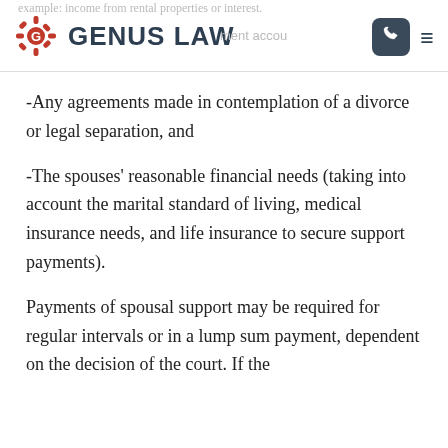GENUS LAW
-Any agreements made in contemplation of a divorce or legal separation, and
-The spouses' reasonable financial needs (taking into account the marital standard of living, medical insurance needs, and life insurance to secure support payments).
Payments of spousal support may be required for regular intervals or in a lump sum payment, dependent on the decision of the court. If the